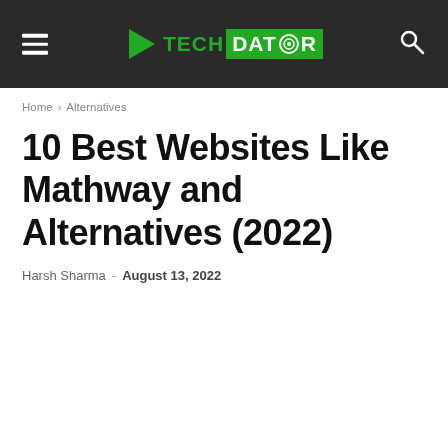TechDator
Home › Alternatives
10 Best Websites Like Mathway and Alternatives (2022)
Harsh Sharma - August 13, 2022